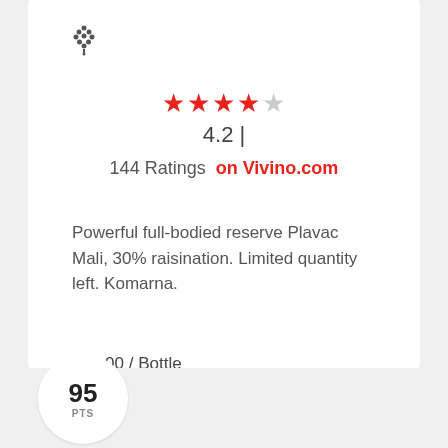[Figure (logo): Vivino grape cluster logo icon in dark grey/black pixelated style]
★★★★☆ 4.2 | 144 Ratings on Vivino.com
Powerful full-bodied reserve Plavac Mali, 30% raisination. Limited quantity left. Komarna.
$65.00 / Bottle
95 PTS